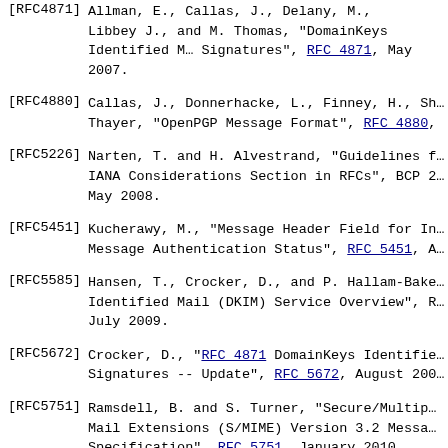[RFC4871] Allman, E., Callas, J., Delany, M., Libbey, J., and M. Thomas, "DomainKeys Identified Mail Signatures", RFC 4871, May 2007.
[RFC4880] Callas, J., Donnerhacke, L., Finney, H., Shaw, R., and Thayer, "OpenPGP Message Format", RFC 4880.
[RFC5226] Narten, T. and H. Alvestrand, "Guidelines for Writing an IANA Considerations Section in RFCs", BCP 26, May 2008.
[RFC5451] Kucherawy, M., "Message Header Field for Indicating Message Authentication Status", RFC 5451.
[RFC5585] Hansen, T., Crocker, D., and P. Hallam-Baker, "DomainKeys Identified Mail (DKIM) Service Overview", RFC, July 2009.
[RFC5672] Crocker, D., "RFC 4871 DomainKeys Identified Mail Signatures -- Update", RFC 5672, August 200.
[RFC5751] Ramsdell, B. and S. Turner, "Secure/Multipurpose Internet Mail Extensions (S/MIME) Version 3.2 Message Specification", RFC 5751, January 2010.
[RFC5863] Hansen, T., Siegel, E., Hallam-Baker, P., and ..., "DomainKeys Identified Mail (DKIM) Development, Deployment, and Operations", RFC 5863, May.
[RFC6377] Kucherawy, M., "DomainKeys Identified Mail (DKIM)..."